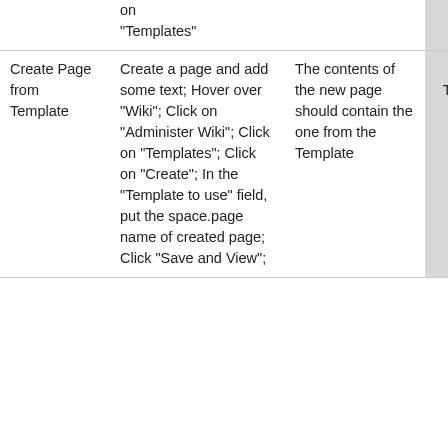|  | on "Templates" |  | Not Tested | - |
| Create Page from Template | Create a page and add some text; Hover over "Wiki"; Click on "Administer Wiki"; Click on "Templates"; Click on "Create"; In the "Template to use" field, put the space.page name of created page; Click "Save and View"; | The contents of the new page should contain the one from the Template | Not Tested | - |